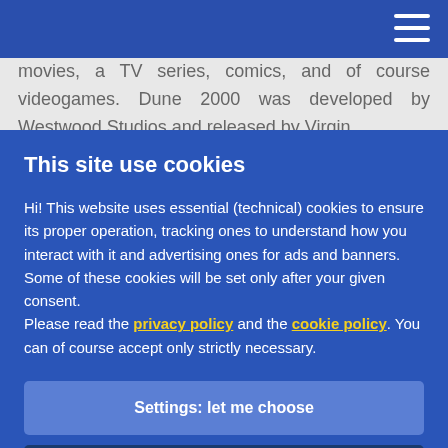movies, a TV series, comics, and of course videogames. Dune 2000 was developed by Westwood Studios and released by Virgin
This site use cookies
Hi! This website uses essential (technical) cookies to ensure its proper operation, tracking ones to understand how you interact with it and advertising ones for ads and banners.
Some of these cookies will be set only after your given consent.
Please read the privacy policy and the cookie policy. You can of course accept only strictly necessary.
Settings: let me choose
Accept all